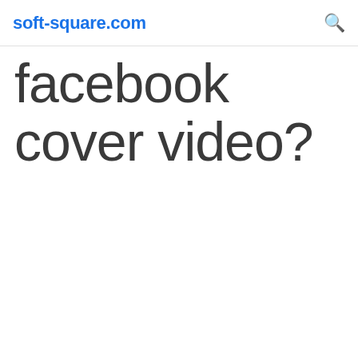soft-square.com
facebook cover video?